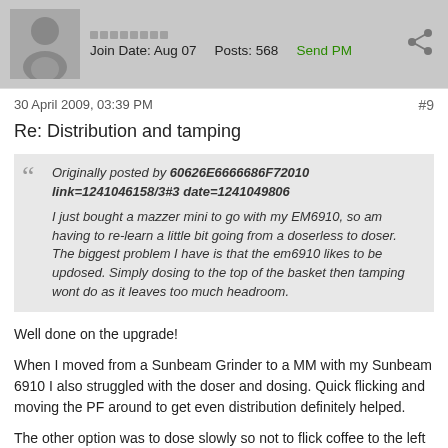Join Date: Aug 07   Posts: 568   Send PM
30 April 2009, 03:39 PM   #9
Re: Distribution and tamping
Originally posted by 60626E6666686F72010 link=1241046158/3#3 date=1241049806
I just bought a mazzer mini to go with my EM6910, so am having to re-learn a little bit going from a doserless to doser. The biggest problem I have is that the em6910 likes to be updosed. Simply dosing to the top of the basket then tamping wont do as it leaves too much headroom.
Well done on the upgrade!
When I moved from a Sunbeam Grinder to a MM with my Sunbeam 6910 I also struggled with the doser and dosing. Quick flicking and moving the PF around to get even distribution definitely helped.
The other option was to dose slowly so not to flick coffee to the left in a bunch at a time. I seem to switch between the two methods depending on my mood. Yes, I know, lack of consistency 🙂